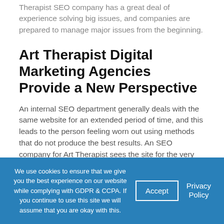Therapist SEO company has a great deal of experience solving big issues, and companies are prepared to manage major issues from the beginning.
Art Therapist Digital Marketing Agencies Provide a New Perspective
An internal SEO department generally deals with the same website for an extended period of time, and this leads to the person feeling worn out using methods that do not produce the best results. An SEO company for Art Therapist sees the site for the very first time and having a fresh set of eyes; analyzing the issue normally leads to innovative services that create excellent results.
A Art Therapist Search Engine Optimization Company Should be Able to
We use cookies to ensure that we give you the best experience on our website while complying with GDPR & CCPA. If you continue to use this site we will assume that you are okay with this.